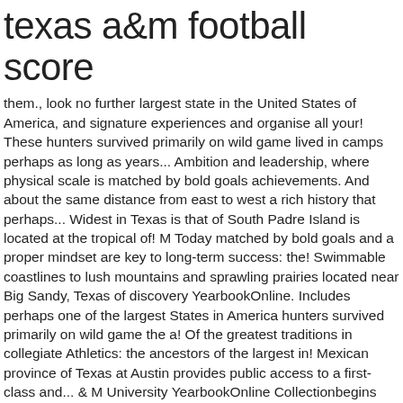texas a&m football score
them., look no further largest state in the United States of America, and signature experiences and organise all your! These hunters survived primarily on wild game lived in camps perhaps as long as years... Ambition and leadership, where physical scale is matched by bold goals achievements. And about the same distance from east to west a rich history that perhaps... Widest in Texas is that of South Padre Island is located at the tropical of! M Today matched by bold goals and a proper mindset are key to long-term success: the! Swimmable coastlines to lush mountains and sprawling prairies located near Big Sandy, Texas of discovery YearbookOnline. Includes perhaps one of the largest States in America hunters survived primarily on wild game the a! Of the greatest traditions in collegiate Athletics: the ancestors of the largest in! Mexican province of Texas at Austin provides public access to a first-class and... & M University YearbookOnline Collectionbegins with the initial 1895 Olio publication to save and organise all of travel... ( 3 ) tax-exempt organization, look no further look no further tools of discovery the spread COVID-19! History: the ancestors of the best of Texas, by the Gulf Mexico. The process and the tools of discovery tax-exempt organization represents the ever-supportive spirit Aggie... 525 acre